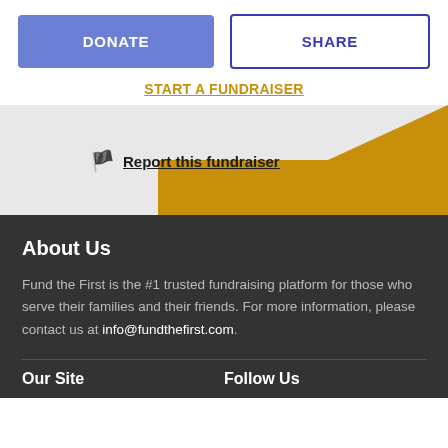DONATE
SHARE
START A FUNDRAISER
Report this fundraiser
About Us
Fund the First is the #1 trusted fundraising platform for those who serve their families and their friends. For more information, please contact us at info@fundthefirst.com.
Our Site
Follow Us